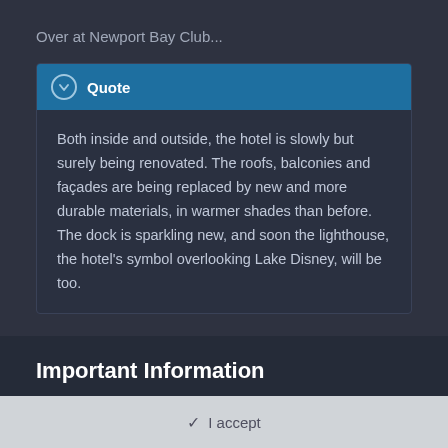Over at Newport Bay Club...
Quote
Both inside and outside, the hotel is slowly but surely being renovated. The roofs, balconies and façades are being replaced by new and more durable materials, in warmer shades than before. The dock is sparkling new, and soon the lighthouse, the hotel's symbol overlooking Lake Disney, will be too.
Important Information
Terms of Use https://themeparkreview.com/forum/topic/116-terms-of-service-please-read/
✓ I accept